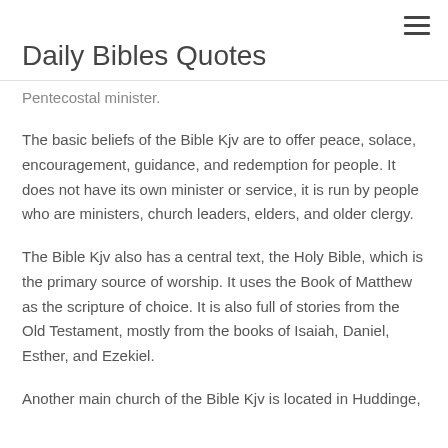Daily Bibles Quotes
Pentecostal minister.
The basic beliefs of the Bible Kjv are to offer peace, solace, encouragement, guidance, and redemption for people. It does not have its own minister or service, it is run by people who are ministers, church leaders, elders, and older clergy.
The Bible Kjv also has a central text, the Holy Bible, which is the primary source of worship. It uses the Book of Matthew as the scripture of choice. It is also full of stories from the Old Testament, mostly from the books of Isaiah, Daniel, Esther, and Ezekiel.
Another main church of the Bible Kjv is located in Huddinge,